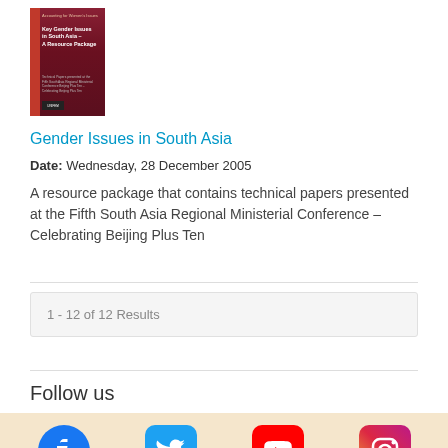[Figure (illustration): Book cover of 'Key Gender Issues in South Asia – A Resource Package' with dark red/maroon background and white text, small publisher logo at bottom]
Gender Issues in South Asia
Date: Wednesday, 28 December 2005
A resource package that contains technical papers presented at the Fifth South Asia Regional Ministerial Conference – Celebrating Beijing Plus Ten
1 - 12 of 12 Results
Follow us